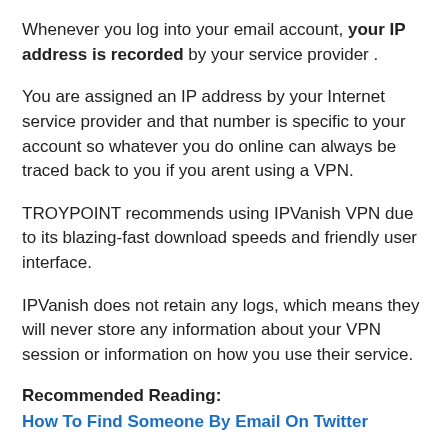Whenever you log into your email account, your IP address is recorded by your service provider .
You are assigned an IP address by your Internet service provider and that number is specific to your account so whatever you do online can always be traced back to you if you arent using a VPN.
TROYPOINT recommends using IPVanish VPN due to its blazing-fast download speeds and friendly user interface.
IPVanish does not retain any logs, which means they will never store any information about your VPN session or information on how you use their service.
Recommended Reading:
How To Find Someone By Email On Twitter